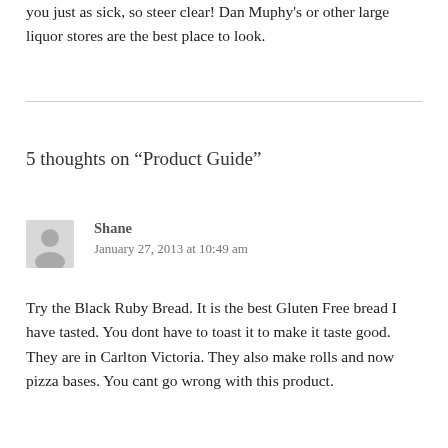you just as sick, so steer clear! Dan Muphy's or other large liquor stores are the best place to look.
5 thoughts on “Product Guide”
[Figure (illustration): Gray avatar/silhouette icon representing a user comment author]
Shane
January 27, 2013 at 10:49 am
Try the Black Ruby Bread. It is the best Gluten Free bread I have tasted. You dont have to toast it to make it taste good. They are in Carlton Victoria. They also make rolls and now pizza bases. You cant go wrong with this product.